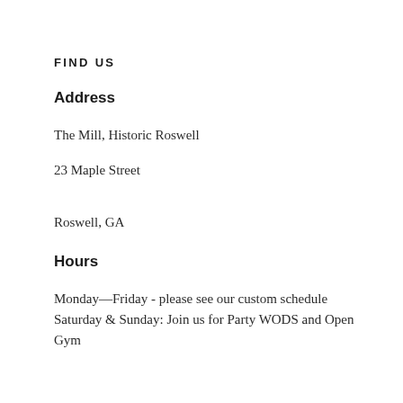FIND US
Address
The Mill, Historic Roswell
23 Maple Street
Roswell, GA
Hours
Monday—Friday - please see our custom schedule
Saturday & Sunday: Join us for Party WODS and Open Gym